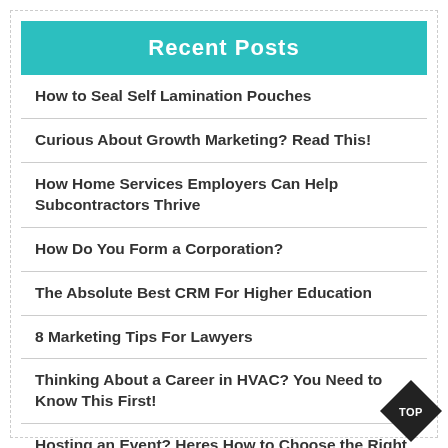Recent Posts
How to Seal Self Lamination Pouches
Curious About Growth Marketing? Read This!
How Home Services Employers Can Help Subcontractors Thrive
How Do You Form a Corporation?
The Absolute Best CRM For Higher Education
8 Marketing Tips For Lawyers
Thinking About a Career in HVAC? You Need to Know This First!
Hosting an Event? Heres How to Choose the Right Venue